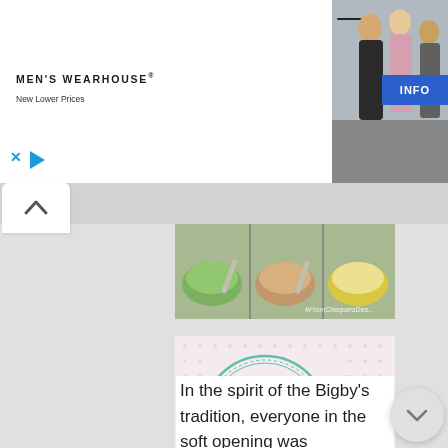[Figure (photo): Men's Wearhouse advertisement banner with couple in formal wear and solo man in suit; INFO button on right side]
[Figure (photo): Partially cropped photo of food items in serving trays/bowls, appears to be green and yellow gelato or desserts, with watermark]
[Figure (photo): Maison de Bonbon Cafe & Restaurant logo on pink/white dotted background with yellow gelato/sorbet served in a cup on the right]
In the spirit of the Bigby's tradition, everyone in the soft opening was